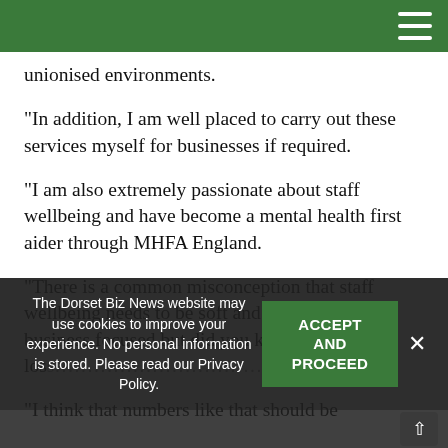unionised environments.
“In addition, I am well placed to carry out these services myself for businesses if required.
“I am also extremely passionate about staff wellbeing and have become a mental health first aider through MHFA England.
“There is a common misconception that staff wellbeing needs to be soft and fluffy rather than business focused but did you know that, las… los……?
“I think that numbers like that should be…
The Dorset Biz News website may use cookies to improve your experience. No personal information is stored. Please read our Privacy Policy.